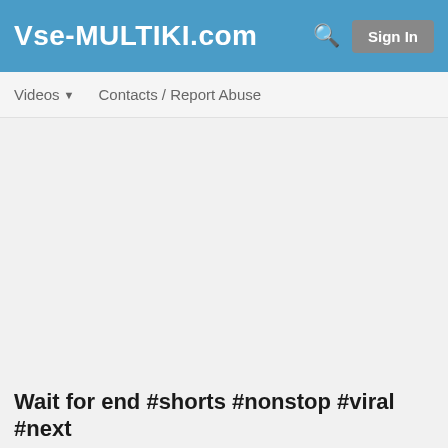Vse-MULTIKI.com
Videos ▾   Contacts / Report Abuse
Wait for end #shorts #nonstop #viral #next